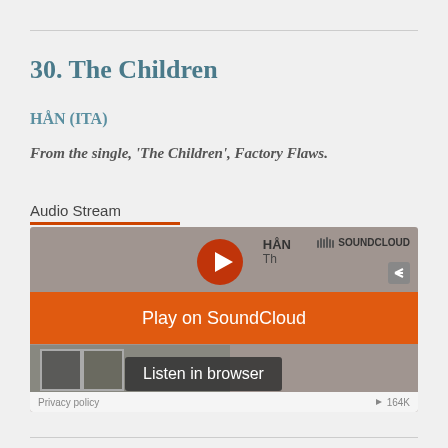30. The Children
HÅN (ITA)
From the single, 'The Children', Factory Flaws.
Audio Stream
[Figure (screenshot): SoundCloud audio player widget showing 'Play on SoundCloud' orange button and 'Listen in browser' overlay, with HÅN track info and Privacy policy / 164K bitrate in footer.]